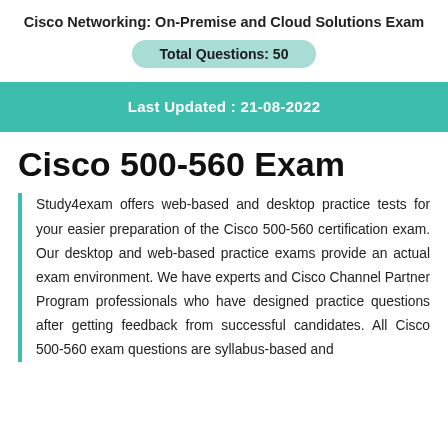Cisco Networking: On-Premise and Cloud Solutions Exam
Total Questions: 50
Last Updated : 21-08-2022
Cisco 500-560 Exam
Study4exam offers web-based and desktop practice tests for your easier preparation of the Cisco 500-560 certification exam. Our desktop and web-based practice exams provide an actual exam environment. We have experts and Cisco Channel Partner Program professionals who have designed practice questions after getting feedback from successful candidates. All Cisco 500-560 exam questions are syllabus-based and